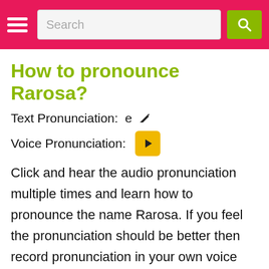[Figure (screenshot): Website header with hamburger menu icon, search bar, and green search button on a pink/red background]
How to pronounce Rarosa?
Text Pronunciation: e [edit icon]
Voice Pronunciation: [play button]
Click and hear the audio pronunciation multiple times and learn how to pronounce the name Rarosa. If you feel the pronunciation should be better then record pronunciation in your own voice and help others.
Record Pronunciation in your own voice